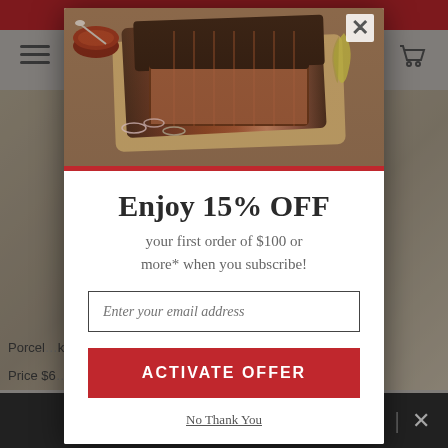[Figure (screenshot): Background website page showing an e-commerce BBQ/grilling product site with red header bar, hamburger menu, cart icon, product image, product text 'Porcel...(k)', price 'Price $6...', red star ratings, and a black bottom bar with close button.]
[Figure (photo): Modal popup food photo showing sliced BBQ brisket on a wooden cutting board with sauce bowl, onion rings, and pickled peppers garnish.]
Enjoy 15% OFF
your first order of $100 or more* when you subscribe!
Enter your email address
ACTIVATE OFFER
No Thank You